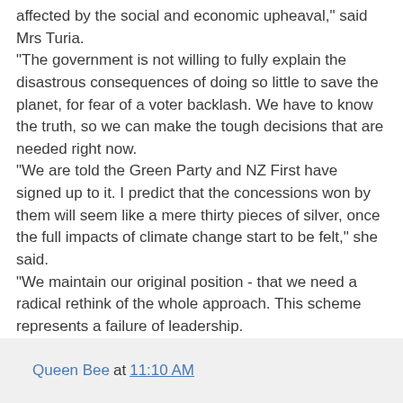affected by the social and economic upheaval," said Mrs Turia.
"The government is not willing to fully explain the disastrous consequences of doing so little to save the planet, for fear of a voter backlash. We have to know the truth, so we can make the tough decisions that are needed right now.
"We are told the Green Party and NZ First have signed up to it. I predict that the concessions won by them will seem like a mere thirty pieces of silver, once the full impacts of climate change start to be felt," she said.
"We maintain our original position - that we need a radical rethink of the whole approach. This scheme represents a failure of leadership.
"The need to make drastic changes to curb greenhouse gas emissions is what defines this moment in our history. We have no time to lose. The common interest must prevail in the pursuit of environmental justice, and social and cultural wellbeing," said Mrs Turia
Queen Bee at 11:10 AM